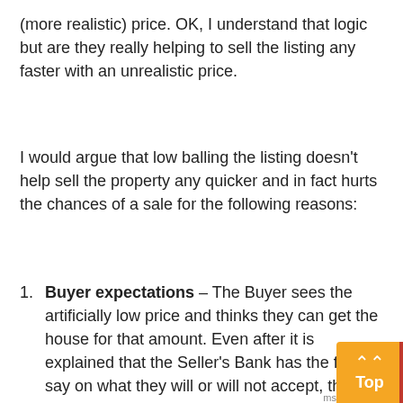(more realistic) price. OK, I understand that logic but are they really helping to sell the listing any faster with an unrealistic price.
I would argue that low balling the listing doesn't help sell the property any quicker and in fact hurts the chances of a sale for the following reasons:
Buyer expectations – The Buyer sees the artificially low price and thinks they can get the house for that amount. Even after it is explained that the Seller's Bank has the final say on what they will or will not accept, this is a difficult psychological hurdle to latter overcome.